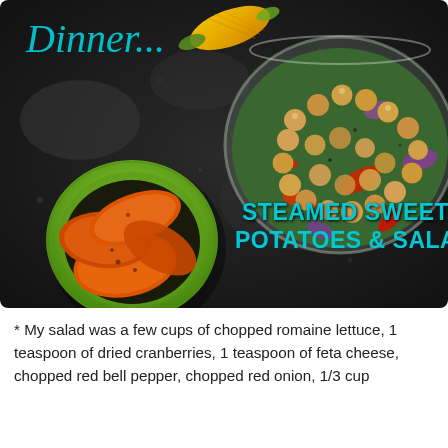[Figure (photo): Overhead photo on dark granite counter: a green plate with steamed sweet potato slices on the lower left, a large glass bowl with chickpea and vegetable salad (romaine, red bell pepper, red onion, chickpeas) on the upper right, and a grilled corn cob at the top center. Text overlay 'Dinner...' in cursive teal at top left, and 'Steamed Sweet Potatoes & Salad' in teal uppercase at bottom right.]
* My salad was a few cups of chopped romaine lettuce, 1 teaspoon of dried cranberries, 1 teaspoon of feta cheese, chopped red bell pepper, chopped red onion, 1/3 cup